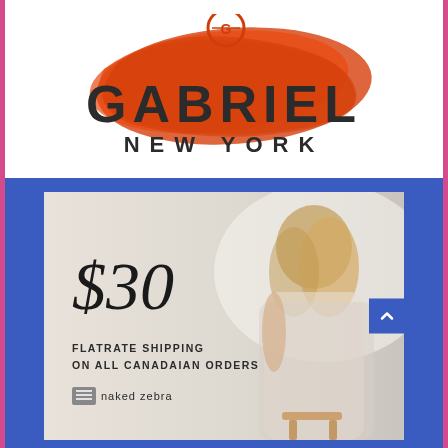[Figure (logo): Gabriel New York logo with red brushstroke background and circular emblem at top]
[Figure (infographic): Fashion advertisement for Naked Zebra brand showing a woman in a floral dress seated on a stool. Text reads '$30 FLATRATE SHIPPING ON ALL CANADAIAN ORDERS' with Naked Zebra logo.]